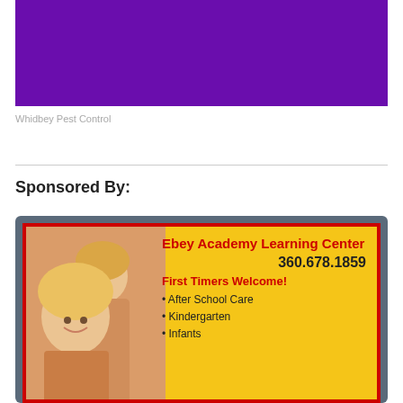[Figure (photo): Purple banner advertisement for Whidbey Pest Control]
Whidbey Pest Control
Sponsored By:
[Figure (photo): Advertisement for Ebey Academy Learning Center showing two young girls and yellow background with red border. Text: Ebey Academy Learning Center, 360.678.1859, First Timers Welcome!, After School Care, Kindergarten, Infants]